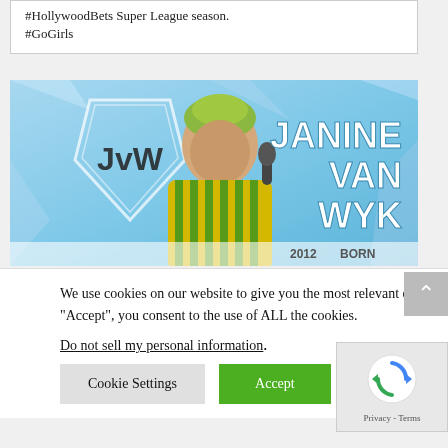#HollywoodBets Super League season. #GoGirls
[Figure (photo): Promotional graphic for Janine van Wyk featuring her photo against a blue background with the JvW shield logo. Text reads 'JANINE VAN WYK' in large white letters. Partially visible text '2012' and 'BORN' at bottom.]
We use cookies on our website to give you the most relevant experience by remembering your preferences and repeat visits. By clicking “Accept”, you consent to the use of ALL the cookies.
Do not sell my personal information.
Cookie Settings
Accept